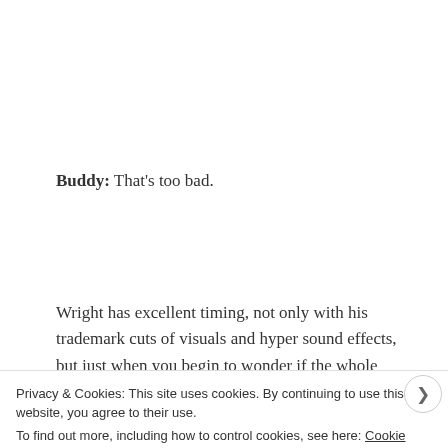Buddy: That's too bad.
Wright has excellent timing, not only with his trademark cuts of visuals and hyper sound effects, but just when you begin to wonder if the whole film will consist of Baby dancing down the street for his coffee, he, Wright, cuts to a new rhythm, and that's what the film has running
Privacy & Cookies: This site uses cookies. By continuing to use this website, you agree to their use. To find out more, including how to control cookies, see here: Cookie Policy